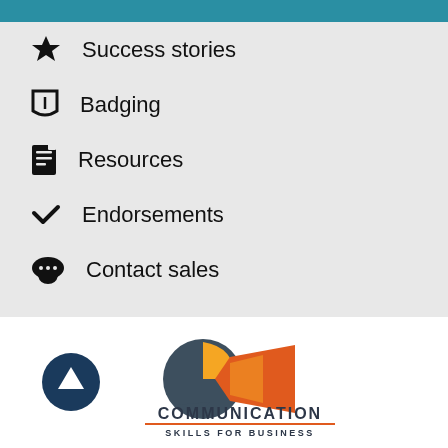Success stories
Badging
Resources
Endorsements
Contact sales
[Figure (logo): Communication Skills for Business logo with megaphone icon and upward arrow button]